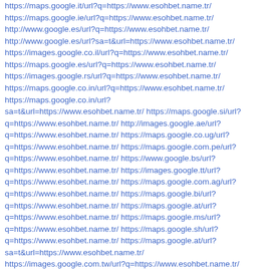https://maps.google.it/url?q=https://www.esohbet.name.tr/
https://maps.google.ie/url?q=https://www.esohbet.name.tr/
http://www.google.es/url?q=https://www.esohbet.name.tr/
http://www.google.es/url?sa=t&url=https://www.esohbet.name.tr/
https://images.google.co.il/url?q=https://www.esohbet.name.tr/
https://maps.google.es/url?q=https://www.esohbet.name.tr/
https://images.google.rs/url?q=https://www.esohbet.name.tr/
https://maps.google.co.in/url?q=https://www.esohbet.name.tr/
https://maps.google.co.in/url?sa=t&url=https://www.esohbet.name.tr/ https://maps.google.si/url?q=https://www.esohbet.name.tr/ http://images.google.ae/url?q=https://www.esohbet.name.tr/ https://maps.google.co.ug/url?q=https://www.esohbet.name.tr/ https://maps.google.com.pe/url?q=https://www.esohbet.name.tr/ https://www.google.bs/url?q=https://www.esohbet.name.tr/ https://images.google.tt/url?q=https://www.esohbet.name.tr/ https://maps.google.com.ag/url?q=https://www.esohbet.name.tr/ https://maps.google.bi/url?q=https://www.esohbet.name.tr/ https://maps.google.at/url?q=https://www.esohbet.name.tr/ https://maps.google.ms/url?q=https://www.esohbet.name.tr/ https://maps.google.sh/url?q=https://www.esohbet.name.tr/ https://maps.google.at/url?sa=t&url=https://www.esohbet.name.tr/
https://images.google.com.tw/url?q=https://www.esohbet.name.tr/
https://images.google.com.tw/url?sa=t&url=https://www.esohbet.name.tr/